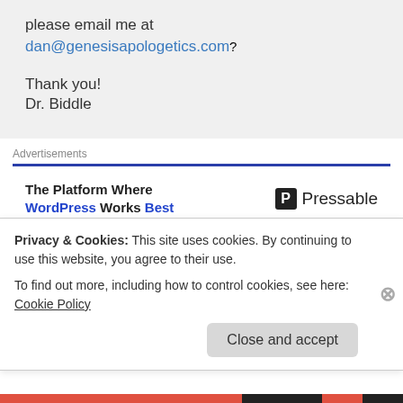please email me at dan@genesisapologetics.com?
Thank you!
Dr. Biddle
Advertisements
[Figure (screenshot): Pressable advertisement: The Platform Where WordPress Works Best]
Robert Bradley on May 6, 2014 at 8:25 pm
Privacy & Cookies: This site uses cookies. By continuing to use this website, you agree to their use.
To find out more, including how to control cookies, see here: Cookie Policy